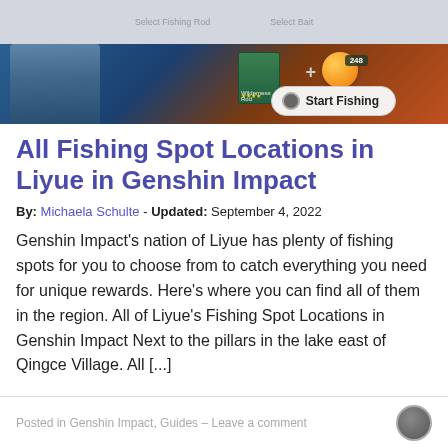[Figure (screenshot): Genshin Impact fishing UI screenshot showing character, fishing rod card, orange bait ball, and Start Fishing button]
All Fishing Spot Locations in Liyue in Genshin Impact
By: Michaela Schulte - Updated: September 4, 2022
Genshin Impact's nation of Liyue has plenty of fishing spots for you to choose from to catch everything you need for unique rewards. Here's where you can find all of them in the region. All of Liyue's Fishing Spot Locations in Genshin Impact Next to the pillars in the lake east of Qingce Village. All [...]
Posted in Genshin Impact, Guides – Leave a comment